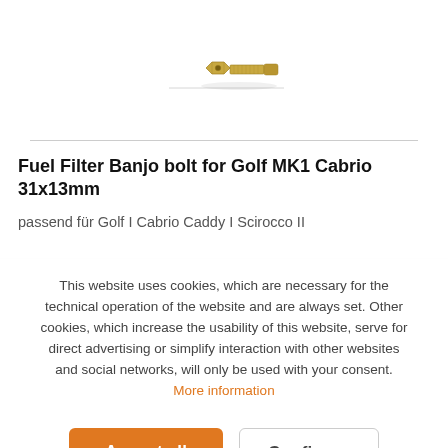[Figure (photo): A gold/brass banjo bolt hardware part, shown at an angle on a white background with a faint horizontal line behind it.]
Fuel Filter Banjo bolt for Golf MK1 Cabrio 31x13mm
passend für Golf I Cabrio Caddy I Scirocco II
This website uses cookies, which are necessary for the technical operation of the website and are always set. Other cookies, which increase the usability of this website, serve for direct advertising or simplify interaction with other websites and social networks, will only be used with your consent.
More information
Accept all
Configure